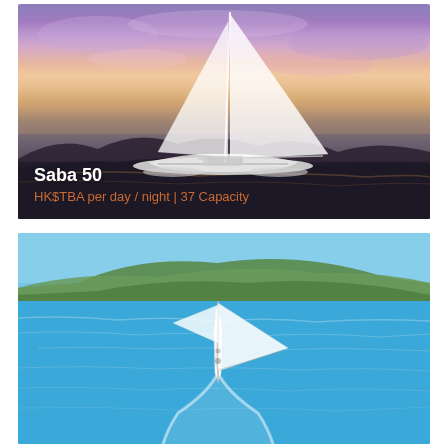[Figure (photo): Catamaran sailboat (Saba 50) sailing on water at sunset with purple and orange sky. White sails raised, hull visible on calm water, mountains in background.]
Saba 50
HK$TBA per day / night | 37 Capacity
[Figure (photo): Aerial view of a monohull sailing yacht with white sails on bright turquoise-blue water. Green hills visible in the background under a clear blue sky.]